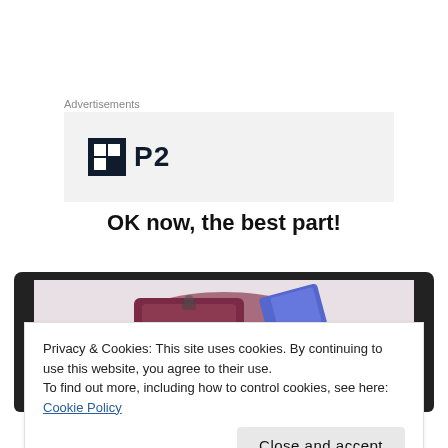Advertisements
[Figure (logo): P2 logo: dark square icon with white grid squares on left, bold dark text 'P2' on right, on a light grey background advertisement box]
OK now, the best part!
[Figure (photo): Photo of a burgundy/maroon handbag and what appears to be a blue book or card, shown in a dark-framed device/tablet mockup]
Privacy & Cookies: This site uses cookies. By continuing to use this website, you agree to their use.
To find out more, including how to control cookies, see here: Cookie Policy
Close and accept